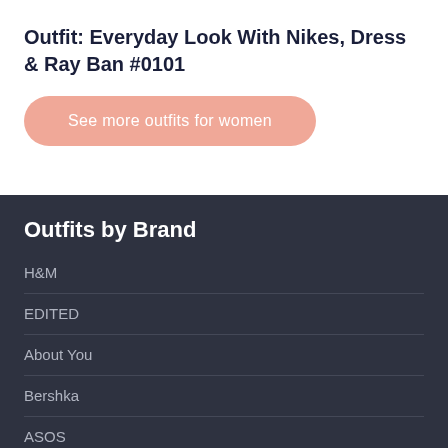Outfit: Everyday Look With Nikes, Dress & Ray Ban #0101
See more outfits for women
Outfits by Brand
H&M
EDITED
About You
Bershka
ASOS
Ni...